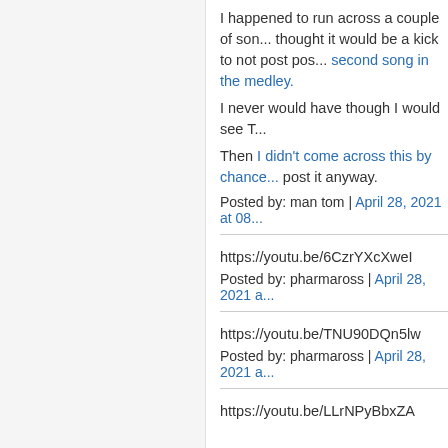I happened to run across a couple of son... thought it would be a kick to not post pos... second song in the medley.
I never would have though I would see T...
Then I didn't come across this by chance... post it anyway.
Posted by: man tom | April 28, 2021 at 08...
https://youtu.be/6CzrYXcXweI
Posted by: pharmaross | April 28, 2021 a...
https://youtu.be/TNU90DQn5lw
Posted by: pharmaross | April 28, 2021 a...
https://youtu.be/LLrNPyBbxZA